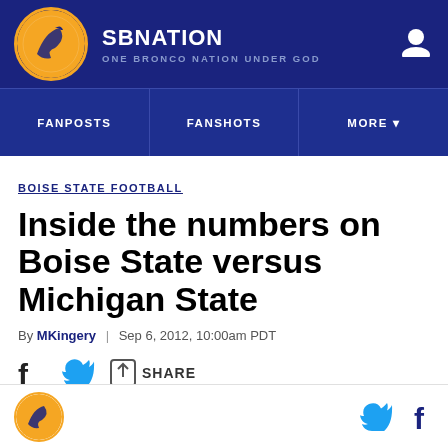SB NATION — ONE BRONCO NATION UNDER GOD
FANPOSTS | FANSHOTS | MORE
BOISE STATE FOOTBALL
Inside the numbers on Boise State versus Michigan State
By MKingery | Sep 6, 2012, 10:00am PDT
SHARE